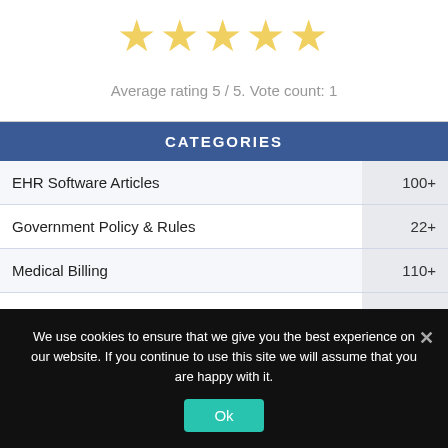[Figure (other): Five gold stars rating widget]
Average rating 5 / 5. Vote count: 1
| CATEGORIES |  |
| --- | --- |
| EHR Software Articles | 100+ |
| Government Policy & Rules | 22+ |
| Medical Billing | 110+ |
| Prognocis EHR Blog Posts | 230+ |
We use cookies to ensure that we give you the best experience on our website. If you continue to use this site we will assume that you are happy with it.